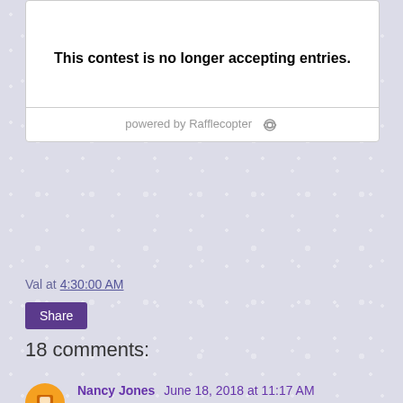[Figure (other): Rafflecopter contest widget showing 'This contest is no longer accepting entries.' with 'powered by Rafflecopter' footer]
Val at 4:30:00 AM
Share
18 comments:
Nancy Jones  June 18, 2018 at 11:17 AM
Not yet but I want to.
Reply